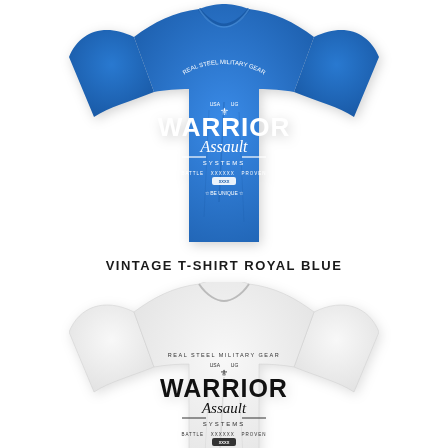[Figure (photo): Blue Warrior Assault Systems vintage t-shirt displayed front-facing on white background]
VINTAGE T-SHIRT ROYAL BLUE
[Figure (photo): White Warrior Assault Systems vintage t-shirt displayed front-facing on white background, partially cropped]